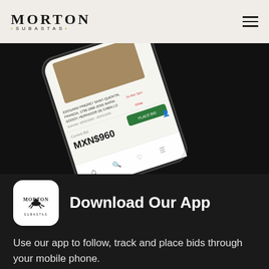[Figure (logo): Morton Subastas logo in header]
[Figure (screenshot): Smartphone showing Morton Subastas app with auction listing for EDOUARD PINGRET painting, Current Bid MXN$960, Place Bid button visible]
[Figure (logo): Morton Subastas app icon - white rounded square with Morton logo]
Download Our App
Use our app to follow, track and place bids through your mobile phone.
[Figure (screenshot): App Store download button - Available on the App Store]
[Figure (screenshot): Google Play download button - GET IT ON]